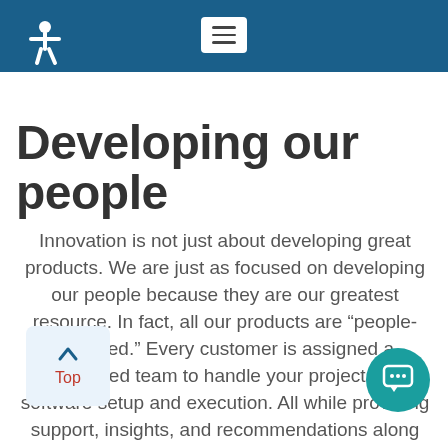Navigation bar with accessibility icon and hamburger menu
Developing our people
Innovation is not just about developing great products. We are just as focused on developing our people because they are our greatest resource. In fact, all our products are “people-powered.” Every customer is assigned a dedicated team to handle your project and software setup and execution. All while providing support, insights, and recommendations along the way.